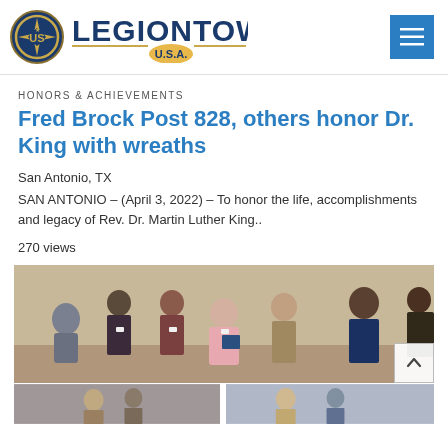LEGIONTOWN USA
HONORS & ACHIEVEMENTS
Fred Brock Post 828, others honor Dr. King with wreaths
San Antonio, TX
SAN ANTONIO – (April 3, 2022) – To honor the life, accomplishments and legacy of Rev. Dr. Martin Luther King..
270 views
[Figure (photo): Group photo of several people standing and sitting indoors at an event, one person holding a blue document/award. A scroll-to-top button is visible in the lower right corner.]
[Figure (photo): Bottom strip showing partial photos from the same event.]